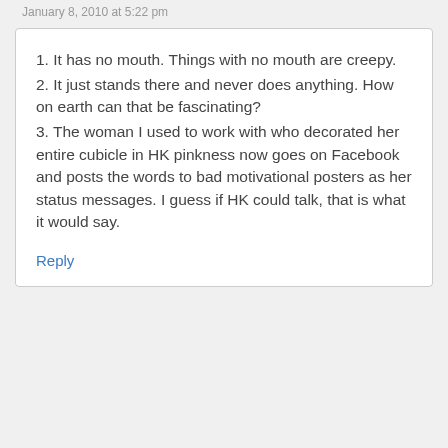January 8, 2010 at 5:22 pm
1. It has no mouth. Things with no mouth are creepy.
2. It just stands there and never does anything. How on earth can that be fascinating?
3. The woman I used to work with who decorated her entire cubicle in HK pinkness now goes on Facebook and posts the words to bad motivational posters as her status messages. I guess if HK could talk, that is what it would say.
Reply